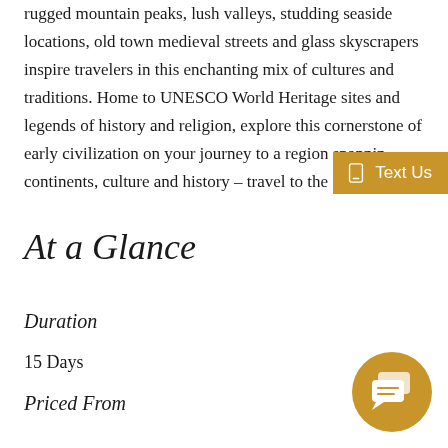rugged mountain peaks, lush valleys, studding seaside locations, old town medieval streets and glass skyscrapers inspire travelers in this enchanting mix of cultures and traditions. Home to UNESCO World Heritage sites and legends of history and religion, explore this cornerstone of early civilization on your journey to a region spanning continents, culture and history – travel to the Cauca...
At a Glance
Duration
15 Days
Priced From